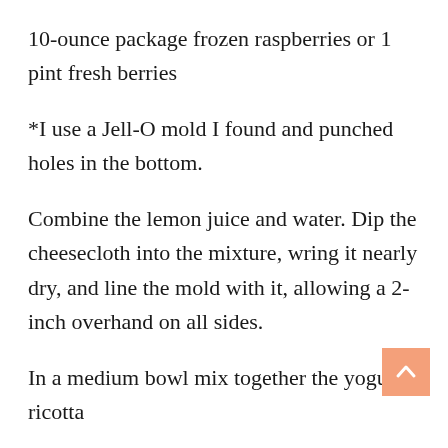10-ounce package frozen raspberries or 1 pint fresh berries
*I use a Jell-O mold I found and punched holes in the bottom.
Combine the lemon juice and water. Dip the cheesecloth into the mixture, wring it nearly dry, and line the mold with it, allowing a 2-inch overhand on all sides.
In a medium bowl mix together the yogurt, ricotta